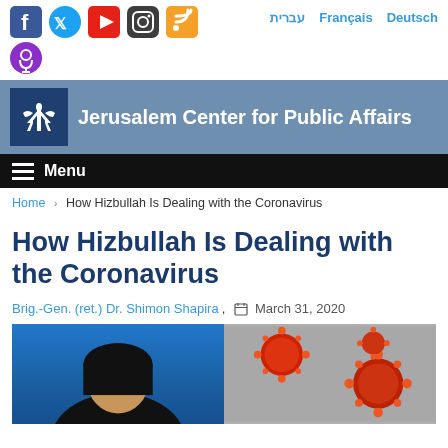Social icons: Facebook, Twitter, YouTube, Instagram, RSS, Podcast | Language links: עברית, Français, Deutsch
[Figure (logo): Jerusalem Center for Public Affairs logo and header banner with organization name]
Menu
Home > How Hizbullah Is Dealing with the Coronavirus
How Hizbullah Is Dealing with the Coronavirus
Brig.-Gen. (ret.) Dr. Shimon Shapira, March 31, 2020
[Figure (photo): Split image: left side shows a person wearing a black hat/hijab against a blue background; right side shows coronavirus particles (red/orange spheres with spike proteins on grey background)]